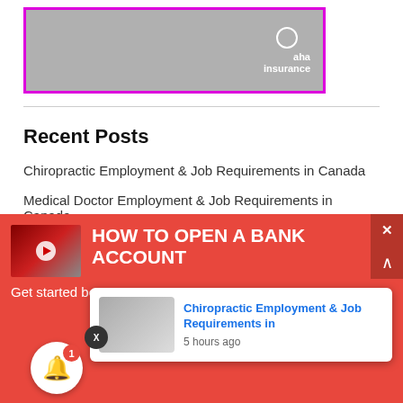[Figure (advertisement): aha insurance advertisement banner with magenta/purple border, grey background, and aha insurance logo with circle icon in white]
Recent Posts
Chiropractic Employment & Job Requirements in Canada
Medical Doctor Employment & Job Requirements in Canada
Welder Jobs and Salary in Cities in Canada
[Figure (screenshot): Red promotional banner: HOW TO OPEN A BANK ACCOUNT with video thumbnail and Get started be... text, with notification popup showing Chiropractic Employment & Job Requirements in article from 5 hours ago, and bell notification button with badge of 1]